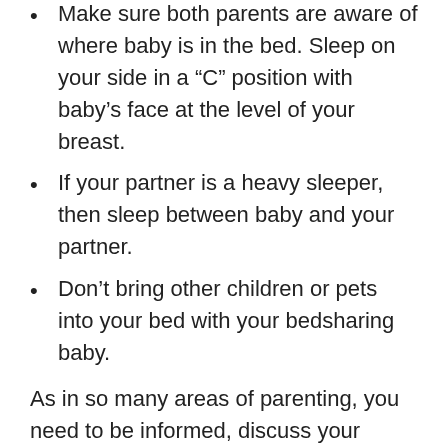Make sure both parents are aware of where baby is in the bed. Sleep on your side in a “C” position with baby’s face at the level of your breast.
If your partner is a heavy sleeper, then sleep between baby and your partner.
Don’t bring other children or pets into your bed with your bedsharing baby.
As in so many areas of parenting, you need to be informed, discuss your questions with a trusted healthcare provider, weigh the risks and arrive at a decision you can live with happily.
Margot Byer is the owner of Sleephaven Sleep